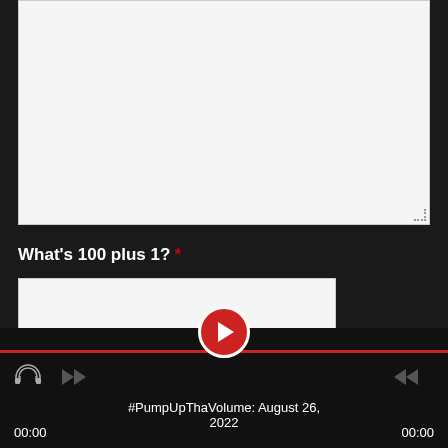[Figure (screenshot): Large empty textarea input field with light gray background and dotted resize handle in bottom-right corner]
What's 100 plus 1? *
[Figure (screenshot): Single-line text input field with light gray background for answer entry]
[Figure (screenshot): Audio/media player bar at bottom with red progress line, red circular play button with white triangle, speed icon, skip forward/back arrows, time displays showing 00:00 on both sides, and track title '#PumpUpThaVolume: August 26, 2022']